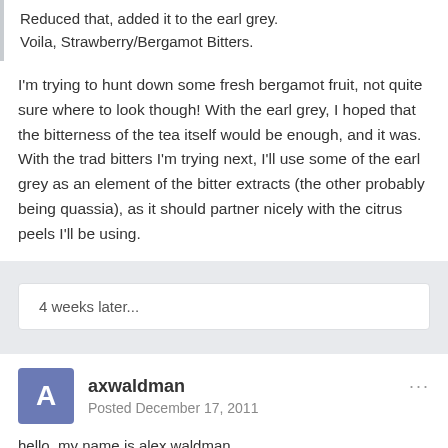Reduced that, added it to the earl grey.
Voila, Strawberry/Bergamot Bitters.
I'm trying to hunt down some fresh bergamot fruit, not quite sure where to look though! With the earl grey, I hoped that the bitterness of the tea itself would be enough, and it was. With the trad bitters I'm trying next, I'll use some of the earl grey as an element of the bitter extracts (the other probably being quassia), as it should partner nicely with the citrus peels I'll be using.
4 weeks later...
axwaldman
Posted December 17, 2011
hello, my name is alex waldman.
i'm a bartender (craft cocktails) in istanbul.
out of both curiosity and necessity i've been making my own bitters for a while now.
i've got a question about Regans' Orange #5, and by proxy all